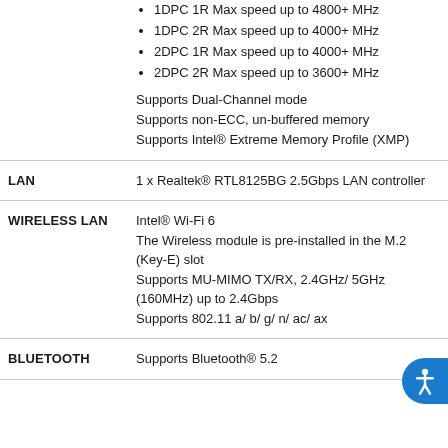1DPC 1R Max speed up to 4800+ MHz
1DPC 2R Max speed up to 4000+ MHz
2DPC 1R Max speed up to 4000+ MHz
2DPC 2R Max speed up to 3600+ MHz
Supports Dual-Channel mode
Supports non-ECC, un-buffered memory
Supports Intel® Extreme Memory Profile (XMP)
LAN
1 x Realtek® RTL8125BG 2.5Gbps LAN controller
WIRELESS LAN
Intel® Wi-Fi 6
The Wireless module is pre-installed in the M.2 (Key-E) slot
Supports MU-MIMO TX/RX, 2.4GHz/ 5GHz (160MHz) up to 2.4Gbps
Supports 802.11 a/ b/ g/ n/ ac/ ax
BLUETOOTH
Supports Bluetooth® 5.2